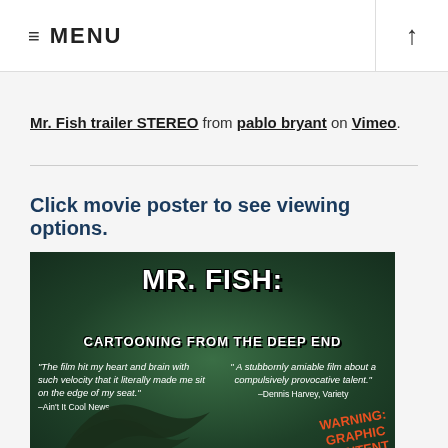≡ MENU ↑
Mr. Fish trailer STEREO from pablo bryant on Vimeo.
Click movie poster to see viewing options.
[Figure (photo): Movie poster for 'Mr. Fish: Cartooning from the Deep End' with green textured background. Quotes from Ain't It Cool News and Dennis Harvey, Variety. Warning: Graphic Content text in orange. Fish silhouette at bottom.]